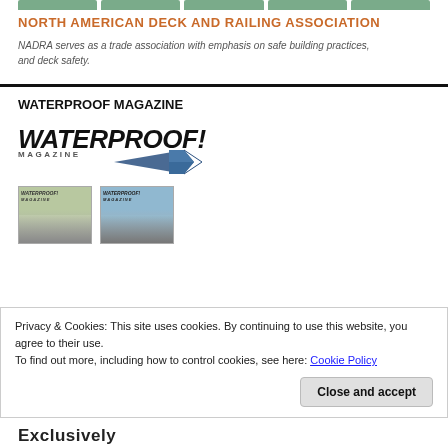[Figure (other): Navigation tab bar with 5 green/teal colored tabs]
NORTH AMERICAN DECK AND RAILING ASSOCIATION
NADRA serves as a trade association with emphasis on safe building practices, and deck safety.
WATERPROOF MAGAZINE
[Figure (logo): Waterproof Magazine logo with italic bold WATERPROOF! text and MAGAZINE below, and a small airplane graphic]
[Figure (photo): Two small magazine cover thumbnails side by side]
Privacy & Cookies: This site uses cookies. By continuing to use this website, you agree to their use.
To find out more, including how to control cookies, see here: Cookie Policy
Exclusively